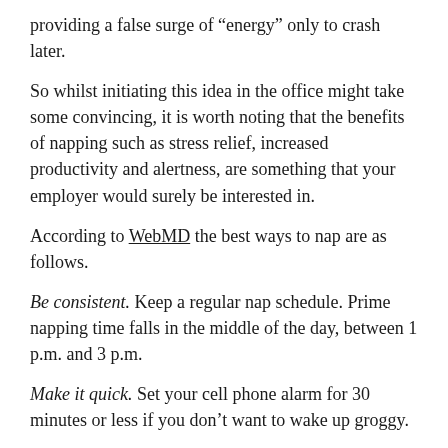providing a false surge of “energy” only to crash later.
So whilst initiating this idea in the office might take some convincing, it is worth noting that the benefits of napping such as stress relief, increased productivity and alertness, are something that your employer would surely be interested in.
According to WebMD the best ways to nap are as follows.
Be consistent. Keep a regular nap schedule. Prime napping time falls in the middle of the day, between 1 p.m. and 3 p.m.
Make it quick. Set your cell phone alarm for 30 minutes or less if you don’t want to wake up groggy.
Go dark. Nap in a dark room or wear an eye mask. Blocking out light helps you fall asleep faster.